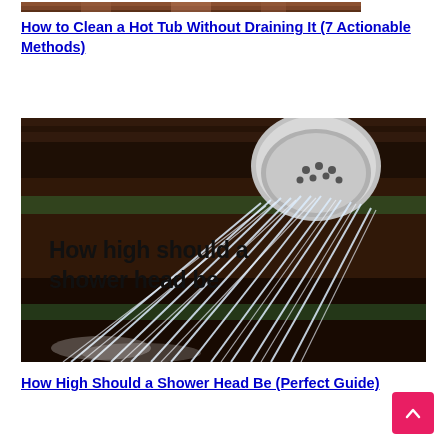[Figure (photo): Partial top of hot tub image (cropped, showing wooden surround)]
How to Clean a Hot Tub Without Draining It (7 Actionable Methods)
[Figure (photo): Shower head spraying water with text overlay 'How high should a shower head be' on dark background with green horizontal bands]
How High Should a Shower Head Be (Perfect Guide)